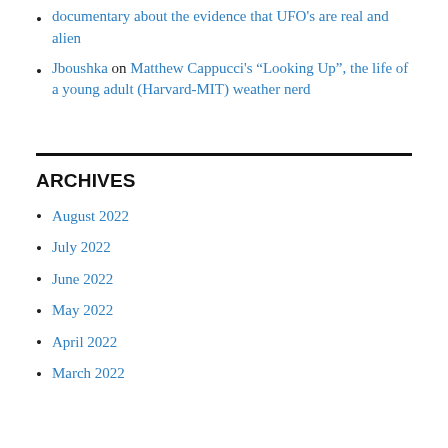documentary about the evidence that UFO's are real and alien
Jboushka on Matthew Cappucci's “Looking Up”, the life of a young adult (Harvard-MIT) weather nerd
ARCHIVES
August 2022
July 2022
June 2022
May 2022
April 2022
March 2022